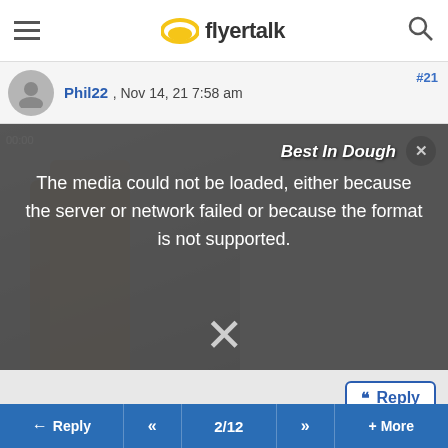flyertalk
Phil22 , Nov 14, 21 7:58 am
[Figure (screenshot): Media player with error overlay reading: Best In Dough. The media could not be loaded, either because the server or network failed or because the format is not supported. Large X close symbol visible.]
Reply button
#27
BarneyMcGrew , Nov 14, 21 8:50 am
Quote:
Originally Posted by Phil22
Reply  <<  2/12  >>  + More